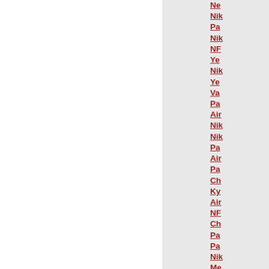Ne
Nik
Pa
Nik
NF
Ye
Nik
Ye
Va
Pa
Air
Nik
Nik
Pa
Air
Pa
Ch
Ky
Air
NF
Ch
Pa
Pa
Nik
Me
Nik
Nik
As
Mi
Le
Ad
Ch
Re
Jo
Nik
Lo
Nik
Pa